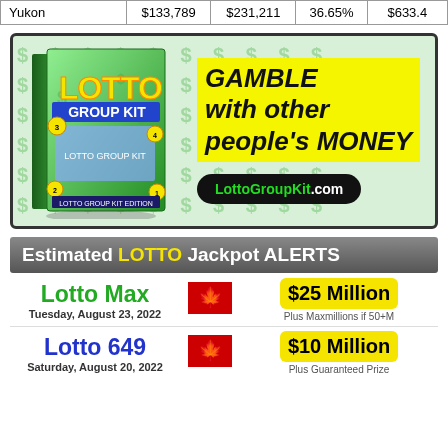|  |  |  |  |  |
| --- | --- | --- | --- | --- |
| Yukon | $133,789 | $231,211 | 36.65% | $633.4 |
[Figure (illustration): Advertisement for LottoGroupKit.com showing a Lotto Group Kit book cover on a dollar-sign patterned green background with text 'GAMBLE with other people's MONEY' and website URL LottoGroupKit.com]
Estimated LOTTO Jackpot ALERTS
Lotto Max
Tuesday, August 23, 2022
$25 Million
Plus Maxmillions if 50+M
Lotto 649
Saturday, August 20, 2022
$10 Million
Plus Guaranteed Prize